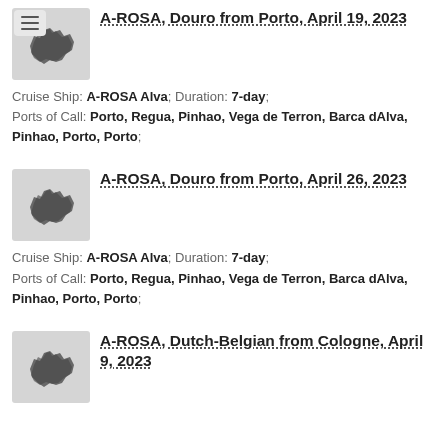[Figure (map): Small map thumbnail of Europe with menu icon overlay, first listing]
A-ROSA, Douro from Porto, April 19, 2023
Cruise Ship: A-ROSA Alva; Duration: 7-day; Ports of Call: Porto, Regua, Pinhao, Vega de Terron, Barca dAlva, Pinhao, Porto, Porto;
[Figure (map): Small map thumbnail of Europe, second listing]
A-ROSA, Douro from Porto, April 26, 2023
Cruise Ship: A-ROSA Alva; Duration: 7-day; Ports of Call: Porto, Regua, Pinhao, Vega de Terron, Barca dAlva, Pinhao, Porto, Porto;
[Figure (map): Small map thumbnail of Europe, third listing]
A-ROSA, Dutch-Belgian from Cologne, April 9, 2023